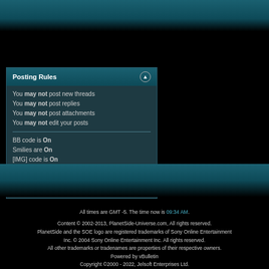Posting Rules
You may not post new threads
You may not post replies
You may not post attachments
You may not edit your posts
BB code is On
Smilies are On
[IMG] code is On
HTML code is Off
Forum Rules
All times are GMT -5. The time now is 09:34 AM.

Content © 2002-2013, PlanetSide-Universe.com, All rights reserved.
PlanetSide and the SOE logo are registered trademarks of Sony Online Entertainment Inc. © 2004 Sony Online Entertainment Inc. All rights reserved.
All other trademarks or tradenames are properties of their respective owners.
Powered by vBulletin
Copyright ©2000 - 2022, Jelsoft Enterprises Ltd.